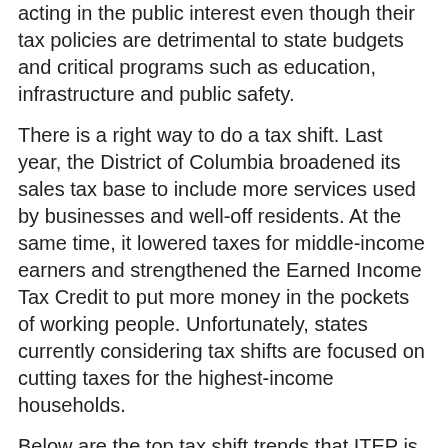acting in the public interest even though their tax policies are detrimental to state budgets and critical programs such as education, infrastructure and public safety.
There is a right way to do a tax shift. Last year, the District of Columbia broadened its sales tax base to include more services used by businesses and well-off residents. At the same time, it lowered taxes for middle-income earners and strengthened the Earned Income Tax Credit to put more money in the pockets of working people. Unfortunately, states currently considering tax shifts are focused on cutting taxes for the highest-income households.
Below are the top tax shift trends that ITEP is following in legislatures across the country:
1) Hiking Taxes on Low Income Families to Pay for Tax Cuts for Wealthy Families
Ohio: Gov. John Kasich's budget includes yet another massive tax shift away from well-off taxpayers to the middle-class and working poor. He wants to slash income taxes for the second time since he's been in office, cutting